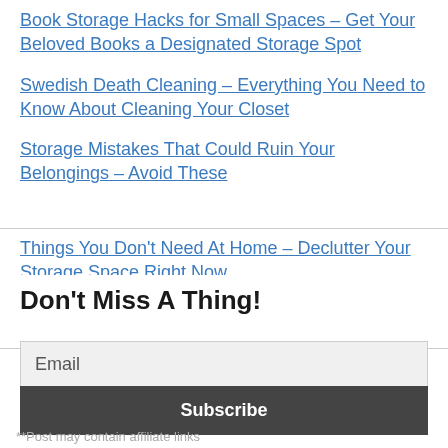Book Storage Hacks for Small Spaces – Get Your Beloved Books a Designated Storage Spot
Swedish Death Cleaning – Everything You Need to Know About Cleaning Your Closet
Storage Mistakes That Could Ruin Your Belongings – Avoid These
Things You Don't Need At Home – Declutter Your Storage Space Right Now
Don't Miss A Thing!
Email
Subscribe
**Post may contain affiliate links